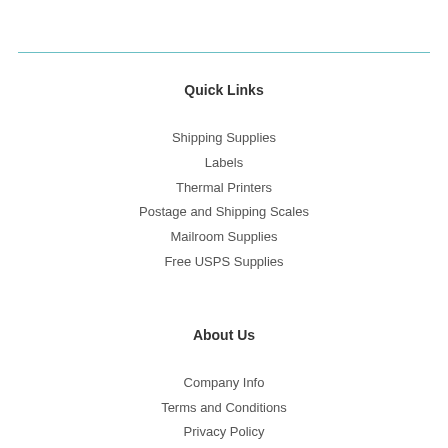Quick Links
Shipping Supplies
Labels
Thermal Printers
Postage and Shipping Scales
Mailroom Supplies
Free USPS Supplies
About Us
Company Info
Terms and Conditions
Privacy Policy
Do Not Sell My Personal Information